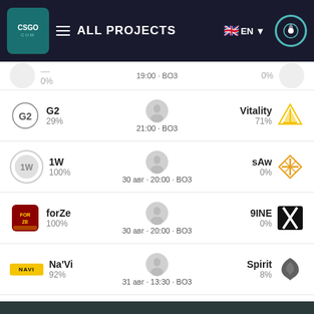ALL PROJECTS — EN
| Team Left | PCT Left | Time/Format | Team Right | PCT Right |
| --- | --- | --- | --- | --- |
| (partial) | 0% | 19:00 · BO3 | (partial) | 0% |
| G2 | 29% | 21:00 · BO3 | Vitality | 71% |
| 1W | 100% | 30 авг · 20:00 · BO3 | sAw | 0% |
| forZe | 100% | 30 авг · 20:00 · BO3 | 9INE | 0% |
| Na'Vi | 92% | 31 авг · 13:30 · BO3 | Spirit | 8% |
| Vitality | 100% | 31 авг · 17:00 · BO3 | Endpoint | 0% |
| NiP | 92% | 31 авг · 20:30 · BO3 | Fnatic | 8% |